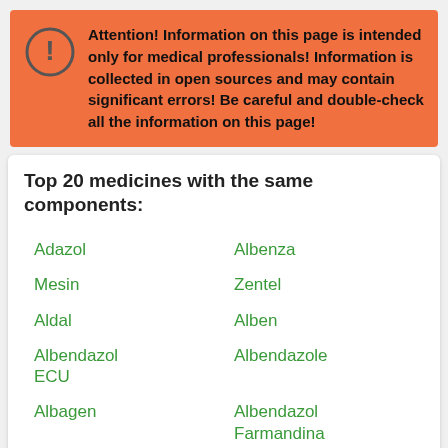Attention! Information on this page is intended only for medical professionals! Information is collected in open sources and may contain significant errors! Be careful and double-check all the information on this page!
Top 20 medicines with the same components:
Adazol
Albenza
Mesin
Zentel
Aldal
Alben
Albendazol ECU
Albendazole
Albagen
Albendazol Farmandina
Eskazole
Andazol
Abetil
Extender
Nemozole
Albax